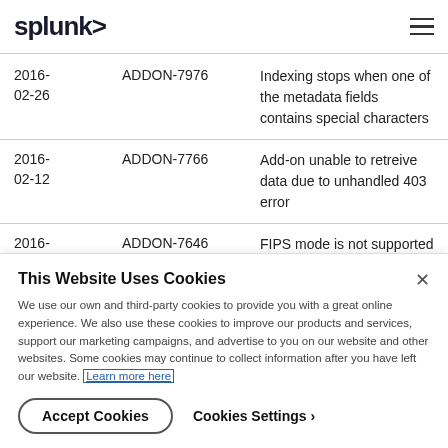splunk>
| 2016-02-26 | ADDON-7976 | Indexing stops when one of the metadata fields contains special characters |
| 2016-02-12 | ADDON-7766 | Add-on unable to retreive data due to unhandled 403 error |
| 2016-01-30 | ADDON-7646 | FIPS mode is not supported by this add-on. For a workaround, |
This Website Uses Cookies
We use our own and third-party cookies to provide you with a great online experience. We also use these cookies to improve our products and services, support our marketing campaigns, and advertise to you on our website and other websites. Some cookies may continue to collect information after you have left our website. Learn more here
Accept Cookies   Cookies Settings ›